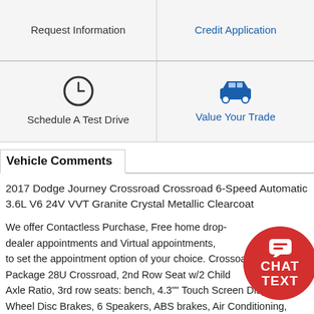Request Information
Credit Application
[Figure (other): Clock icon for Schedule A Test Drive]
Schedule A Test Drive
[Figure (other): Car icon in blue for Value Your Trade]
Value Your Trade
Vehicle Comments
2017 Dodge Journey Crossroad Crossroad 6-Speed Automatic 3.6L V6 24V VVT Granite Crystal Metallic Clearcoat
We offer Contactless Purchase, Free home drop-, dealer appointments and Virtual appointments, to set the appointment option of your choice. Crossroad Package 28U Crossroad, 2nd Row Seat w/2 Child, Axle Ratio, 3rd row seats: bench, 4.3"" Touch Screen Display, 4-Wheel Disc Brakes, 6 Speakers, ABS brakes, Air Conditioning, Alloy wheels, AM/FM radio: SiriusXM, Anti-whiplash front head restraints, Audio Jack Input for Mobile Devices, Auto/StickTM, Auto-dimming Rear-View mirror, Brake assist, Bumpers: body-